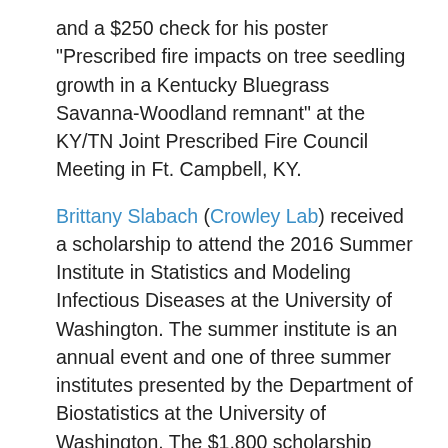and a $250 check for his poster "Prescribed fire impacts on tree seedling growth in a Kentucky Bluegrass Savanna-Woodland remnant" at the KY/TN Joint Prescribed Fire Council Meeting in Ft. Campbell, KY.
Brittany Slabach (Crowley Lab) received a scholarship to attend the 2016 Summer Institute in Statistics and Modeling Infectious Diseases at the University of Washington. The summer institute is an annual event and one of three summer institutes presented by the Department of Biostatistics at the University of Washington. The $1,800 scholarship provides attendance to three modules, and includes travel cost. Brittany's goal is to gain a strong foundation in epidemiological models, and to use data parameters from her field data to develop two disease transmission models that will better help manage disease outbreak in wild populations.